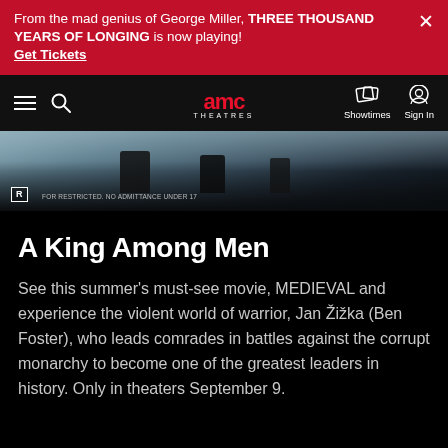From the mad genius of George Miller, THREE THOUSAND YEARS OF LONGING is now playing! Get Tickets
[Figure (screenshot): AMC Theatres website navigation bar with hamburger menu, search icon, AMC Theatres logo, Showtimes and Sign In buttons]
[Figure (photo): Movie still from MEDIEVAL showing warriors in a dark, dramatic landscape with R rating badge]
A King Among Men
See this summer's must-see movie, MEDIEVAL and experience the violent world of warrior, Jan Žižka (Ben Foster), who leads comrades in battles against the corrupt monarchy to become one of the greatest leaders in history. Only in theaters September 9.